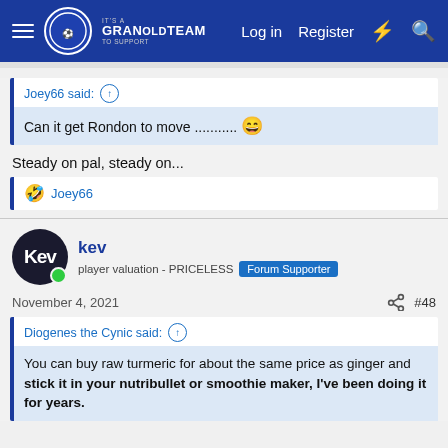GranOldTeam - Log in Register
Joey66 said: ↑
Can it get Rondon to move ........... 😄
Steady on pal, steady on...
🤣 Joey66
kev
player valuation - PRICELESS  Forum Supporter
November 4, 2021  #48
Diogenes the Cynic said: ↑
You can buy raw turmeric for about the same price as ginger and stick it in your nutribullet or smoothie maker, I've been doing it for years.